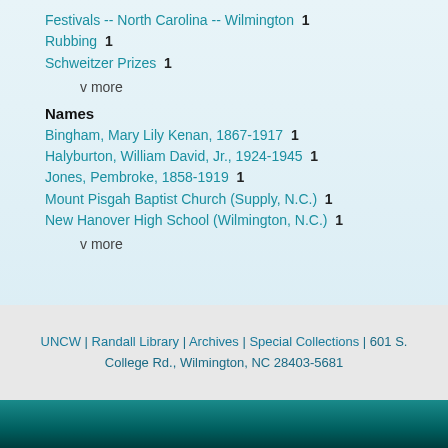Festivals -- North Carolina -- Wilmington  1
Rubbing  1
Schweitzer Prizes  1
v more
Names
Bingham, Mary Lily Kenan, 1867-1917  1
Halyburton, William David, Jr., 1924-1945  1
Jones, Pembroke, 1858-1919  1
Mount Pisgah Baptist Church (Supply, N.C.)  1
New Hanover High School (Wilmington, N.C.)  1
v more
UNCW | Randall Library | Archives | Special Collections | 601 S. College Rd., Wilmington, NC 28403-5681